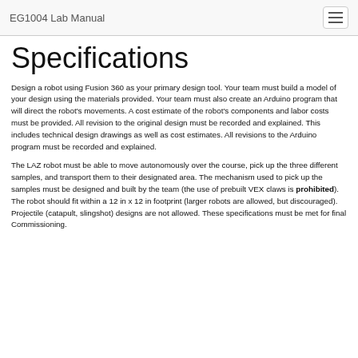EG1004 Lab Manual
Specifications
Design a robot using Fusion 360 as your primary design tool. Your team must build a model of your design using the materials provided. Your team must also create an Arduino program that will direct the robot’s movements. A cost estimate of the robot’s components and labor costs must be provided. All revision to the original design must be recorded and explained. This includes technical design drawings as well as cost estimates. All revisions to the Arduino program must be recorded and explained.
The LAZ robot must be able to move autonomously over the course, pick up the three different samples, and transport them to their designated area. The mechanism used to pick up the samples must be designed and built by the team (the use of prebuilt VEX claws is prohibited). The robot should fit within a 12 in x 12 in footprint (larger robots are allowed, but discouraged). Projectile (catapult, slingshot) designs are not allowed. These specifications must be met for final Commissioning.